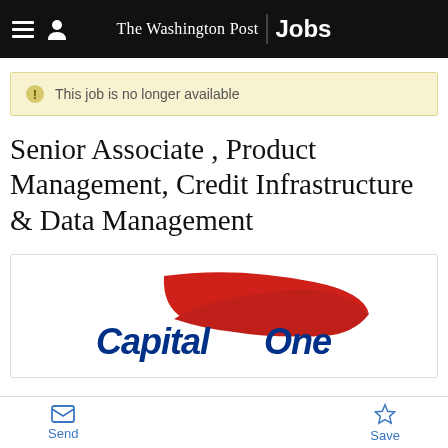The Washington Post Jobs
This job is no longer available
Senior Associate , Product Management, Credit Infrastructure & Data Management
[Figure (logo): Capital One company logo with red swoosh above blue Capital One text]
Send  Save